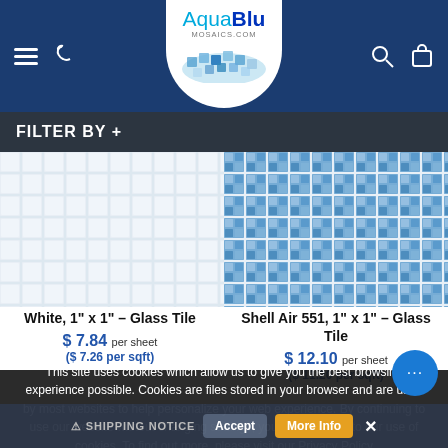AquaBlu Mosaics - header navigation with logo, hamburger menu, phone, search and cart icons
FILTER BY +
[Figure (photo): White 1x1 glass mosaic tile product photo - light grey/white small square tiles in grid pattern]
[Figure (photo): Shell Air 551 1x1 glass mosaic tile product photo - blue iridescent small square tiles in grid pattern]
White, 1" x 1" - Glass Tile
Shell Air 551, 1" x 1" - Glass Tile
$ 7.84 per sheet
($ 7.26 per sqft)
$ 12.10 per sheet
($ 11.20 per sqft)
This site uses cookies which allow us to give you the best browsing experience possible. Cookies are files stored in your browser and are used by most websites to help personalize your web experience. By continuing to use our website without changing settings, you are agreeing to our use of cookies. To find out more, please visit our Privacy Policy
⚠ SHIPPING NOTICE  Accept  More Info  ×